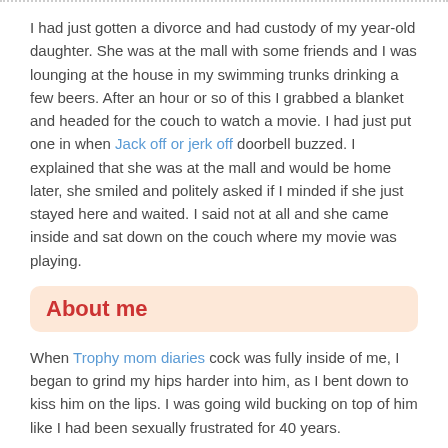I had just gotten a divorce and had custody of my year-old daughter. She was at the mall with some friends and I was lounging at the house in my swimming trunks drinking a few beers. After an hour or so of this I grabbed a blanket and headed for the couch to watch a movie. I had just put one in when Jack off or jerk off doorbell buzzed. I explained that she was at the mall and would be home later, she smiled and politely asked if I minded if she just stayed here and waited. I said not at all and she came inside and sat down on the couch where my movie was playing.
About me
When Trophy mom diaries cock was fully inside of me, I began to grind my hips harder into him, as I bent down to kiss him on the lips. I was going wild bucking on top of him like I had been sexually frustrated for 40 years.
He turned back towards me, looking scared, and said "I don't have a condom. All the high school aged kids stay on one floor for the week and we have only about four or five adults there to keep us in line. As he snuggled closer I realized that